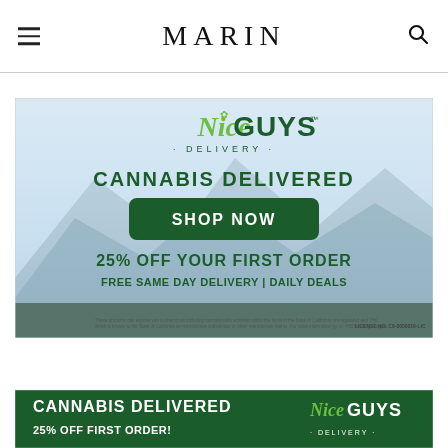MARIN
[Figure (screenshot): Nice Guys Delivery advertisement. Logo with 'NiceGUYS DELIVERY' in green. Text: 'CANNABIS DELIVERED', green button 'SHOP NOW', '25% OFF YOUR FIRST ORDER', 'FREE SAME DAY DELIVERY | DAILY DEALS'. License No. C9-0000016-LIC at bottom.]
[Figure (screenshot): Partial second Nice Guys Delivery ad at bottom: 'CANNABIS DELIVERED', '25% OFF FIRST ORDER!' with NiceGUYS logo visible on right.]